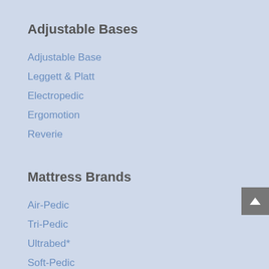Adjustable Bases
Adjustable Base
Leggett & Platt
Electropedic
Ergomotion
Reverie
Mattress Brands
Air-Pedic
Tri-Pedic
Ultrabed*
Soft-Pedic
Fibro-Pedic
Memory Zone
Peach-Pedic